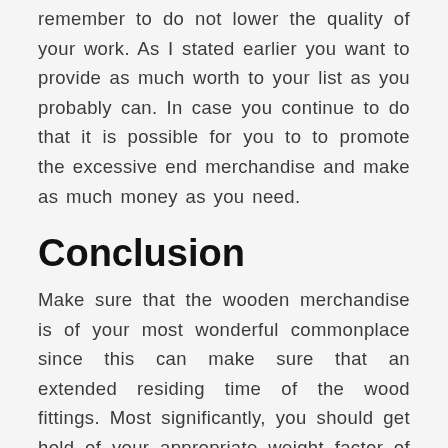remember to do not lower the quality of your work. As I stated earlier you want to provide as much worth to your list as you probably can. In case you continue to do that it is possible for you to to promote the excessive end merchandise and make as much money as you need.
Conclusion
Make sure that the wooden merchandise is of your most wonderful commonplace since this can make sure that an extended residing time of the wood fittings. Most significantly, you should get hold of your appropriate weight factor of the product that you will promote in your wooden display stands to check out the display?s durability. Merely depend on people